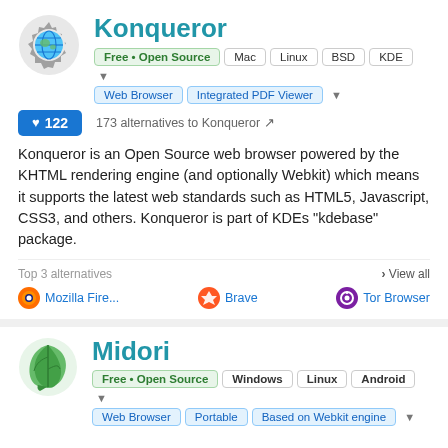Konqueror
Free • Open Source, Mac, Linux, BSD, KDE
Web Browser, Integrated PDF Viewer
♥ 122   173 alternatives to Konqueror
Konqueror is an Open Source web browser powered by the KHTML rendering engine (and optionally Webkit) which means it supports the latest web standards such as HTML5, Javascript, CSS3, and others. Konqueror is part of KDEs "kdebase" package.
Top 3 alternatives   View all
Mozilla Fire...   Brave   Tor Browser
Midori
Free • Open Source, Windows, Linux, Android
Web Browser, Portable, Based on Webkit engine